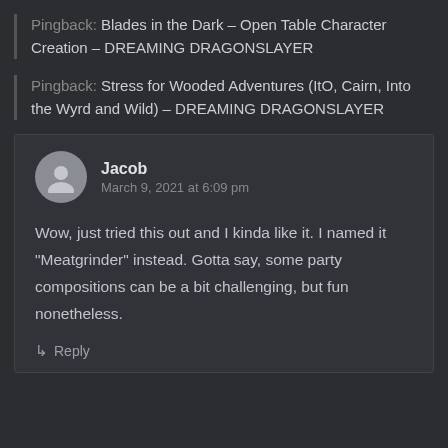Pingback: Blades in the Dark – Open Table Character Creation – DREAMING DRAGONSLAYER
Pingback: Stress for Wooded Adventures (ItO, Cairn, Into the Wyrd and Wild) – DREAMING DRAGONSLAYER
Jacob
March 9, 2021 at 6:09 pm
Wow, just tried this out and I kinda like it. I named it "Meatgrinder" instead. Gotta say, some party compositions can be a bit challenging, but fun nonetheless.
Reply